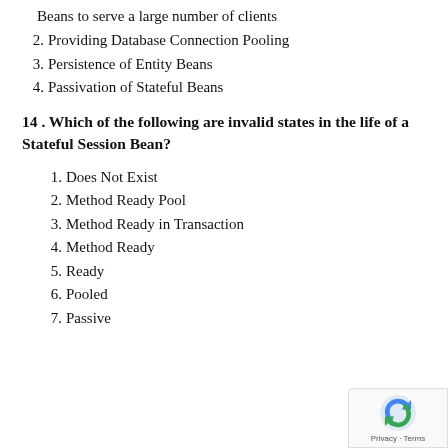Beans to serve a large number of clients
2. Providing Database Connection Pooling
3. Persistence of Entity Beans
4. Passivation of Stateful Beans
14 . Which of the following are invalid states in the life of a Stateful Session Bean?
1. Does Not Exist
2. Method Ready Pool
3. Method Ready in Transaction
4. Method Ready
5. Ready
6. Pooled
7. Passive